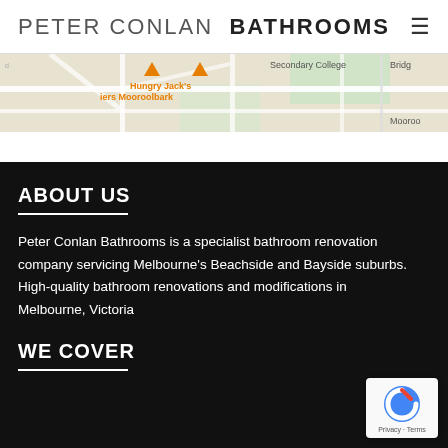PETER CONLAN BATHROOMS
[Figure (map): Google Maps partial view showing Mooroolbark area with Hungry Jack's location marker and road layout]
ABOUT US
Peter Conlan Bathrooms is a specialist bathroom renovation company servicing Melbourne's Beachside and Bayside suburbs. High-quality bathroom renovations and modifications in Melbourne, Victoria
WE COVER